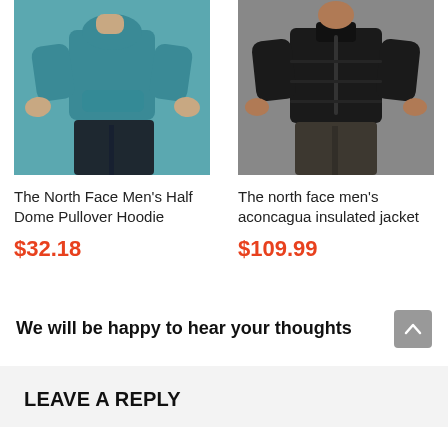[Figure (photo): Product photo of The North Face Men's Half Dome Pullover Hoodie - teal/blue color, model torso and legs visible]
[Figure (photo): Product photo of The north face men's aconcagua insulated jacket - black color, model torso and legs visible]
The North Face Men's Half Dome Pullover Hoodie
$32.18
The north face men's aconcagua insulated jacket
$109.99
We will be happy to hear your thoughts
LEAVE A REPLY